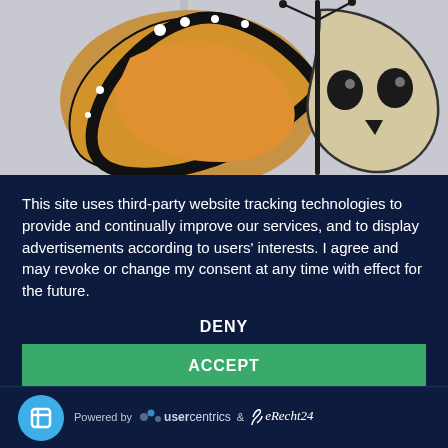[Figure (illustration): Top portion of a butterfly and skull illustration on a light gray background, partially visible at the top of the page.]
This site uses third-party website tracking technologies to provide and continually improve our services, and to display advertisements according to users' interests. I agree and may revoke or change my consent at any time with effect for the future.
DENY
ACCEPT
MORE
Powered by usercentrics & eRecht24